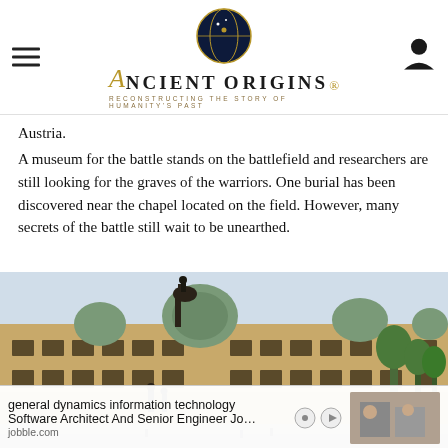Ancient Origins — Reconstructing the Story of Humanity's Past
Austria.
A museum for the battle stands on the battlefield and researchers are still looking for the graves of the warriors. One burial has been discovered near the chapel located on the field. However, many secrets of the battle still wait to be unearthed.
[Figure (photo): Photograph of a large historic building with Baroque architecture, featuring green domed towers and an equestrian statue in front.]